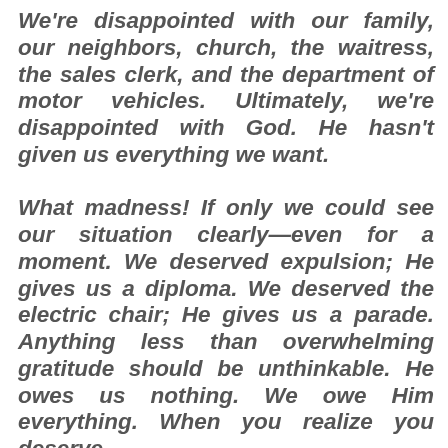We're disappointed with our family, our neighbors, church, the waitress, the sales clerk, and the department of motor vehicles. Ultimately, we're disappointed with God. He hasn't given us everything we want. What madness! If only we could see our situation clearly—even for a moment. We deserved expulsion; He gives us a diploma. We deserved the electric chair; He gives us a parade. Anything less than overwhelming gratitude should be unthinkable. He owes us nothing. We owe Him everything. When you realize you deserve